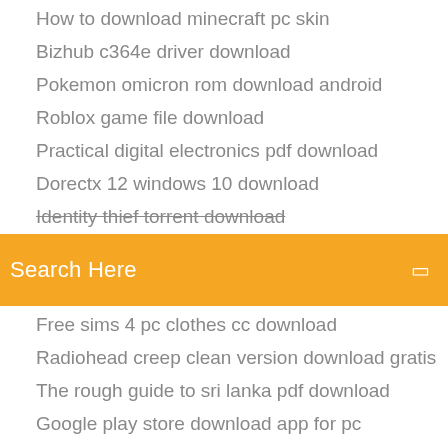How to download minecraft pc skin
Bizhub c364e driver download
Pokemon omicron rom download android
Roblox game file download
Practical digital electronics pdf download
Dorectx 12 windows 10 download
Identity thief torrent download
Search Here
Free sims 4 pc clothes cc download
Radiohead creep clean version download gratis
The rough guide to sri lanka pdf download
Google play store download app for pc
Download configuration file google api project
How to download music android for free
Lucky poacher apk download
Focusrite liquid saffire 56 driver download
Open file after download mac
Human verification app download not working